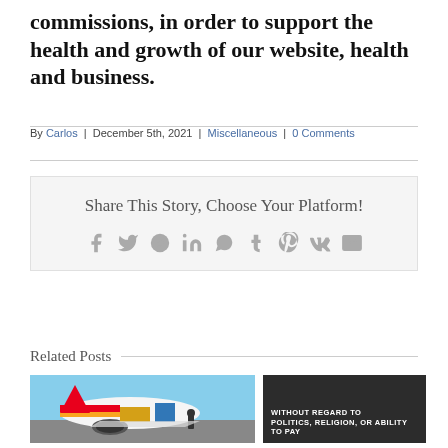commissions, in order to support the health and growth of our website, health and business.
By Carlos | December 5th, 2021 | Miscellaneous | 0 Comments
[Figure (infographic): Share This Story, Choose Your Platform! with social media icons for Facebook, Twitter, Reddit, LinkedIn, WhatsApp, Tumblr, Pinterest, VK, and Email]
Related Posts
[Figure (photo): Cargo being loaded onto a Southwest Airlines plane at an airport]
[Figure (infographic): Dark background with text: WITHOUT REGARD TO POLITICS, RELIGION, OR ABILITY TO PAY]